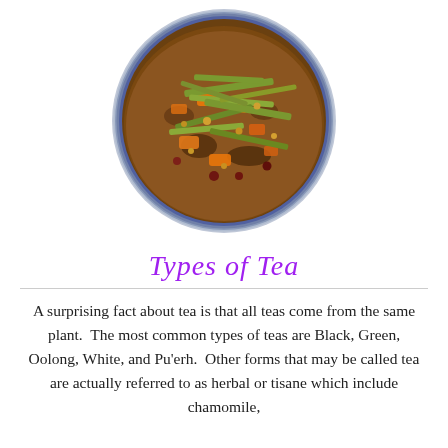[Figure (photo): A circular tin bowl filled with loose-leaf herbal tea blend including green lemongrass stalks, dried orange/yellow fruit pieces, small round seeds, and various dried herbs and botanicals.]
Types of Tea
A surprising fact about tea is that all teas come from the same plant.  The most common types of teas are Black, Green, Oolong, White, and Pu'erh.  Other forms that may be called tea are actually referred to as herbal or tisane which include chamomile,